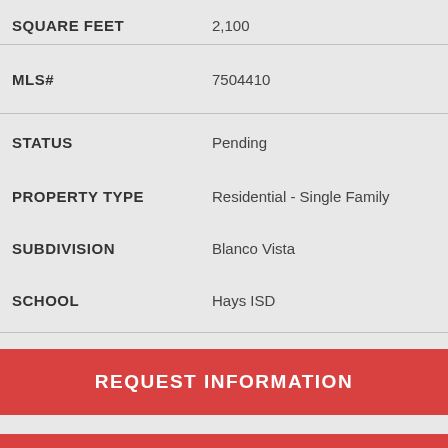| Field | Value |
| --- | --- |
| SQUARE FEET | 2,100 |
| MLS# | 7504410 |
| STATUS | Pending |
| PROPERTY TYPE | Residential - Single Family |
| SUBDIVISION | Blanco Vista |
| SCHOOL | Hays ISD |
REQUEST INFORMATION